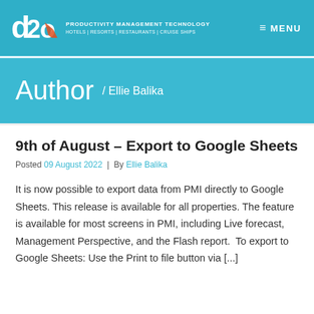d2o PRODUCTIVITY MANAGEMENT TECHNOLOGY  HOTELS | RESORTS | RESTAURANTS | CRUISE SHIPS   ≡ MENU
Author / Ellie Balika
9th of August – Export to Google Sheets
Posted 09 August 2022  |  By Ellie Balika
It is now possible to export data from PMI directly to Google Sheets. This release is available for all properties. The feature is available for most screens in PMI, including Live forecast, Management Perspective, and the Flash report.  To export to Google Sheets: Use the Print to file button via [...]